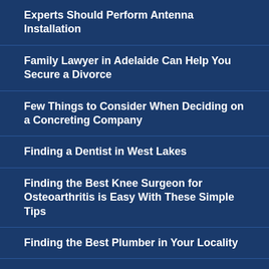Experts Should Perform Antenna Installation
Family Lawyer in Adelaide Can Help You Secure a Divorce
Few Things to Consider When Deciding on a Concreting Company
Finding a Dentist in West Lakes
Finding the Best Knee Surgeon for Osteoarthritis is Easy With These Simple Tips
Finding the Best Plumber in Your Locality
Finding the Ideal Company for Solar Panel Installation
Finding the Perfect Pair of Vybe Bridal Shoes
Finding the...